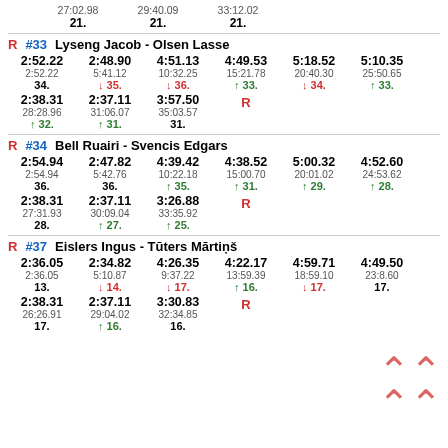| Split1 | Cum1 | Rank1 | Split2 | Cum2 | Rank2 | Split3 | Cum3 | Rank3 |
| --- | --- | --- | --- | --- | --- | --- | --- | --- |
| 27:02.98 |  | 21. | 29:40.09 |  | 21. | 33:12.02 |  | 21. |
R #33 Lyseng Jacob - Olsen Lasse
| 2:52.22 | 2:48.90 | 4:51.13 | 4:49.53 | 5:18.52 | 5:10.35 |
| 2:52.22 | 5:41.12 | 10:32.25 | 15:21.78 | 20:40.30 | 25:50.65 |
| 34. | ↓35. | ↓36. | ↑33. | ↓34. | ↑33. |
| 2:38.31 | 2:37.11 | 3:57.50 | R |  |  |
| 28:28.96 | 31:06.07 | 35:03.57 |  |  |  |
| ↑32. | ↑31. | 31. |  |  |  |
R #34 Bell Ruairi - Svencis Edgars
| 2:54.94 | 2:47.82 | 4:39.42 | 4:38.52 | 5:00.32 | 4:52.60 |
| 2:54.94 | 5:42.76 | 10:22.18 | 15:00.70 | 20:01.02 | 24:53.62 |
| 36. | 36. | ↑35. | ↑31. | ↑29. | ↑28. |
| 2:38.31 | 2:37.11 | 3:26.88 | R |  |  |
| 27:31.93 | 30:09.04 | 33:35.92 |  |  |  |
| 28. | ↑27. | ↑25. |  |  |  |
R #37 Eislers Ingus - Tūters Mārtiņš
| 2:36.05 | 2:34.82 | 4:26.35 | 4:22.17 | 4:59.71 | 4:49.50 |
| 2:36.05 | 5:10.87 | 9:37.22 | 13:59.39 | 18:59.10 | 23:8.60 |
| 13. | ↓14. | ↓17. | ↑16. | ↓17. | 17. |
| 2:38.31 | 2:37.11 | 3:30.83 | R |  |  |
| 26:26.91 | 29:04.02 | 32:34.85 |  |  |  |
| 17. | ↑16. | 16. |  |  |  |